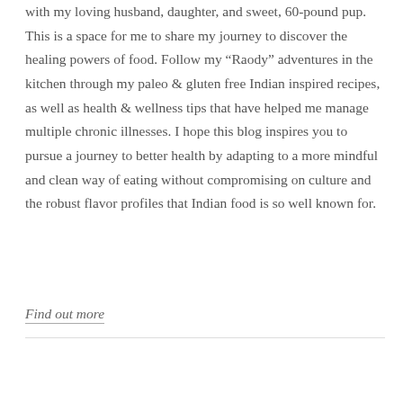with my loving husband, daughter, and sweet, 60-pound pup. This is a space for me to share my journey to discover the healing powers of food. Follow my “Raody” adventures in the kitchen through my paleo & gluten free Indian inspired recipes, as well as health & wellness tips that have helped me manage multiple chronic illnesses. I hope this blog inspires you to pursue a journey to better health by adapting to a more mindful and clean way of eating without compromising on culture and the robust flavor profiles that Indian food is so well known for.
Find out more